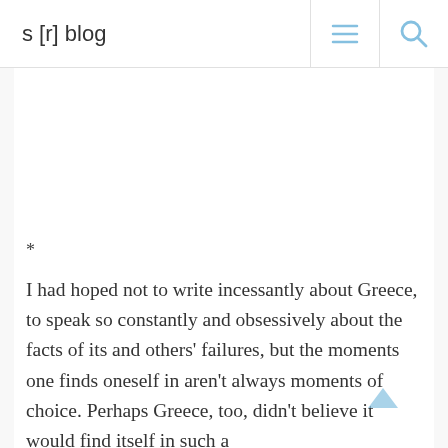s [r] blog
*
I had hoped not to write incessantly about Greece, to speak so constantly and obsessively about the facts of its and others' failures, but the moments one finds oneself in aren't always moments of choice. Perhaps Greece, too, didn't believe it would find itself in such a